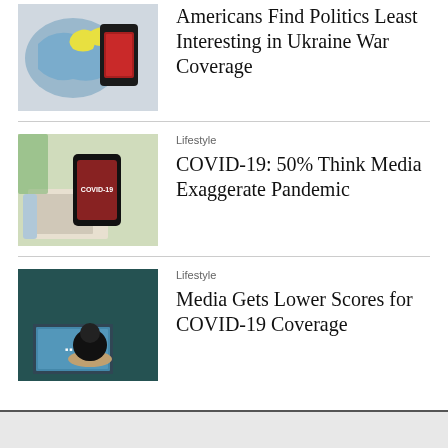[Figure (photo): Hand holding a smartphone displaying a map with Ukraine highlighted in yellow, blue background map]
Americans Find Politics Least Interesting in Ukraine War Coverage
[Figure (photo): Top-down view of desk with smartphone showing COVID-19 screen, sanitizer bottle, keyboard, and papers]
Lifestyle
COVID-19: 50% Think Media Exaggerate Pandemic
[Figure (photo): Man sitting on couch from behind watching television screen]
Lifestyle
Media Gets Lower Scores for COVID-19 Coverage